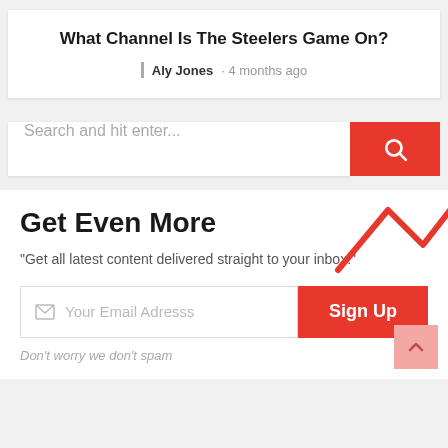What Channel Is The Steelers Game On?
Aly Jones · 4 months ago
Search and hit enter...
Get Even More
"Get all latest content delivered straight to your inbox."
Your Email Adresss
Sign Up
Don't worry we don't spam